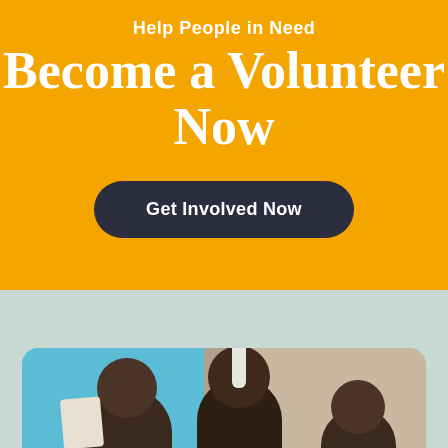Help People in Need
Become a Volunteer Now
Get Involved Now
[Figure (photo): Children in a community setting, one holding a paper, against a blue wall background]